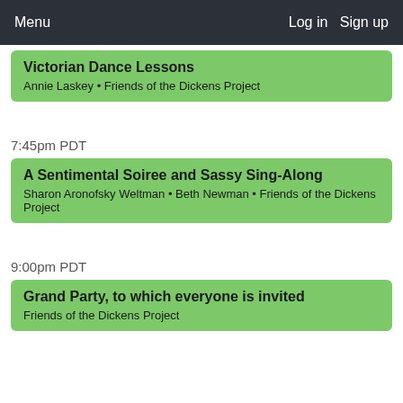Menu  Log in  Sign up
Victorian Dance Lessons
Annie Laskey • Friends of the Dickens Project
7:45pm PDT
A Sentimental Soiree and Sassy Sing-Along
Sharon Aronofsky Weltman • Beth Newman • Friends of the Dickens Project
9:00pm PDT
Grand Party, to which everyone is invited
Friends of the Dickens Project